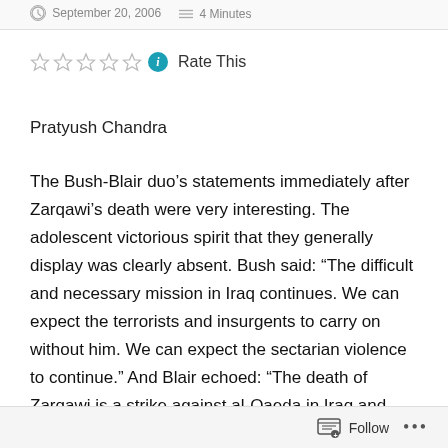September 20, 2006   4 Minutes
Rate This
Pratyush Chandra
The Bush-Blair duo’s statements immediately after Zarqawi’s death were very interesting. The adolescent victorious spirit that they generally display was clearly absent. Bush said: “The difficult and necessary mission in Iraq continues. We can expect the terrorists and insurgents to carry on without him. We can expect the sectarian violence to continue.” And Blair echoed: “The death of Zarqawi is a strike against al-Qaeda in Iraq and
Follow ...